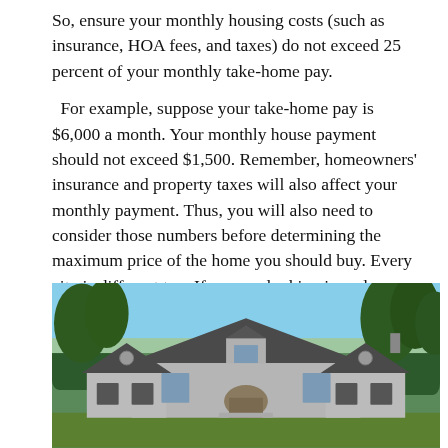So, ensure your monthly housing costs (such as insurance, HOA fees, and taxes) do not exceed 25 percent of your monthly take-home pay.
For example, suppose your take-home pay is $6,000 a month. Your monthly house payment should not exceed $1,500. Remember, homeowners' insurance and property taxes will also affect your monthly payment. Thus, you will also need to consider those numbers before determining the maximum price of the home you should buy. Every city is different too. If you are looking in a place with a hot real estate market, like Denver, then you won't get as much bang for your buck compared to a place like Houston.
[Figure (photo): Exterior photograph of a suburban house with gray siding, dark roof, multiple dormers, black shutters, and trees in the background]